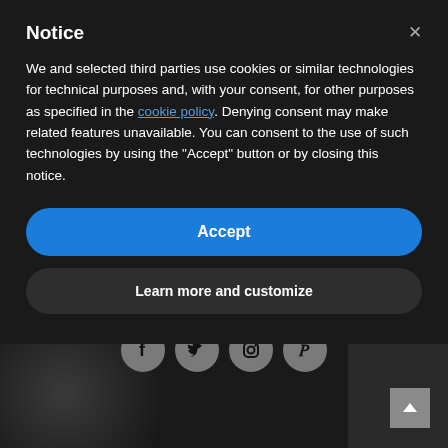Notice
We and selected third parties use cookies or similar technologies for technical purposes and, with your consent, for other purposes as specified in the cookie policy. Denying consent may make related features unavailable. You can consent to the use of such technologies by using the "Accept" button or by closing this notice.
Accept
Learn more and customize
[Figure (screenshot): Dark background with social media icons (Facebook, Twitter, Instagram, Pinterest) and a decorative wheel/dial image visible below the cookie consent modal. A scroll-to-top button is visible in the lower right.]